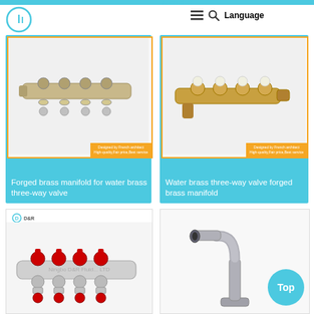recorder | Language
[Figure (photo): Forged brass manifold product photo with orange border badge 'Designed by French architect High-quality,Fair price,Best service']
Forged brass manifold for water brass three-way valve
[Figure (photo): Water brass three-way valve forged brass manifold product photo with orange border badge]
Water brass three-way valve forged brass manifold
[Figure (photo): D&R brand manifold with red ball valves photo, watermarked Ningbo D&R Fluid... LTD]
[Figure (photo): Chrome faucet/tap product photo on white background]